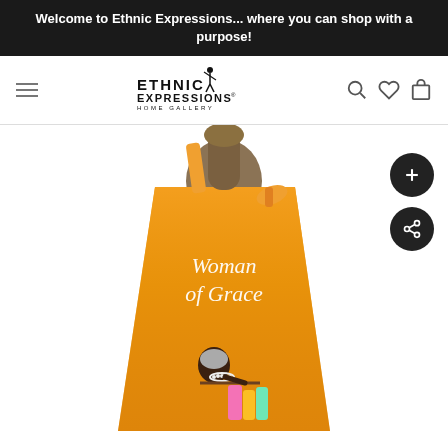Welcome to Ethnic Expressions... where you can shop with a purpose!
[Figure (logo): Ethnic Expressions Home Gallery logo with stylized dancer figure]
[Figure (photo): Orange apron displayed on a dress form/mannequin torso. The apron features colorful artwork with text 'Woman of Grace' in white script, showing an artistic illustration of women with colorful clothing. The apron has an orange halter strap.]